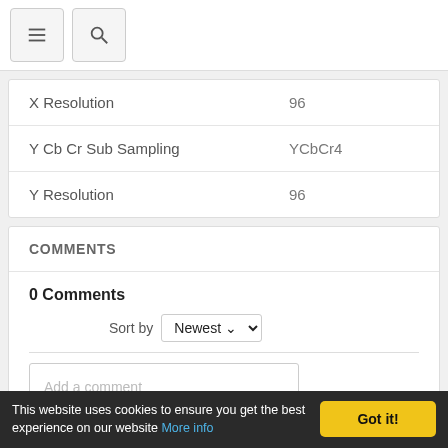Navigation bar with menu and search icons
| Property | Value |
| --- | --- |
| X Resolution | 96 |
| Y Cb Cr Sub Sampling | YCbCr4 |
| Y Resolution | 96 |
COMMENTS
0 Comments
Sort by Newest
Add a comment
This website uses cookies to ensure you get the best experience on our website More info  Got it!